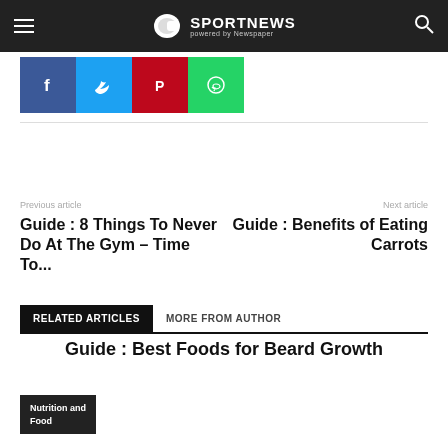SPORTNEWS powered by Newspaper
[Figure (infographic): Social share buttons: Facebook (blue), Twitter (cyan), Pinterest (red), WhatsApp (green)]
Previous article
Guide : 8 Things To Never Do At The Gym – Time To...
Next article
Guide : Benefits of Eating Carrots
RELATED ARTICLES   MORE FROM AUTHOR
Guide : Best Foods for Beard Growth
Nutrition and Food